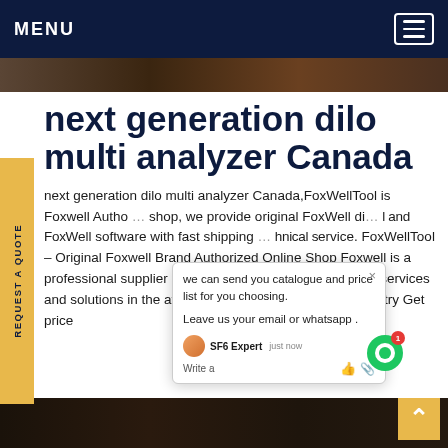MENU
[Figure (screenshot): Dark hero image banner strip at top of page]
next generation dilo multi analyzer Canada
next generation dilo multi analyzer Canada,FoxWellTool is Foxwell Authorized shop, we provide original FoxWell diagnostic tool and FoxWell software with fast shipping and technical service. FoxWellTool - Original Foxwell Brand Authorized Online Shop Foxwell is a professional supplier of automotive diagnostic products, services and solutions in the aftermarket. . Foxwell combine industry Get price
[Figure (screenshot): Chat popup overlay showing message: we can send you catalogue and price list for you choosing. Leave us your email or whatsapp. SF6 Expert just now. Write a message area with like and attach icons. Green chat bubble icon with red badge showing 1.]
[Figure (photo): Dark bottom image strip showing automotive related imagery]
Back to top button (chevron up)